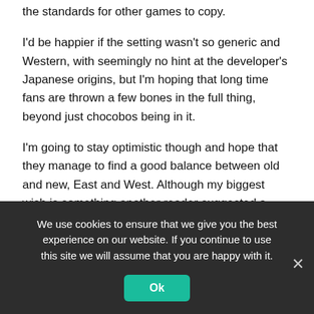the standards for other games to copy.
I'd be happier if the setting wasn't so generic and Western, with seemingly no hint at the developer's Japanese origins, but I'm hoping that long time fans are thrown a few bones in the full thing, beyond just chocobos being in it.
I'm going to stay optimistic though and hope that they manage to find a good balance between old and new, East and West. Although my biggest wish is something another reader suggested a while back and that they do a more old school adventure. Not something that's trying to look like a SNES game but just old style gameplay with modern presentation. It's never been done and I think that would be the perfect thing to...
We use cookies to ensure that we give you the best experience on our website. If you continue to use this site we will assume that you are happy with it.